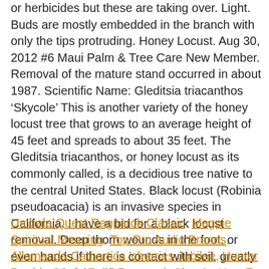or herbicides but these are taking over. Light. Buds are mostly embedded in the branch with only the tips protruding. Honey Locust. Aug 30, 2012 #6 Maui Palm & Tree Care New Member. Removal of the mature stand occurred in about 1987. Scientific Name: Gleditsia triacanthos 'Skycole' This is another variety of the honey locust tree that grows to an average height of 45 feet and spreads to about 35 feet. The Gleditsia triacanthos, or honey locust as its commonly called, is a decidious tree native to the central United States. Black locust (Robinia pseudoacacia) is an invasive species in California. I have a bid for a black locust removal. Deep thorn wounds in the foot, or even hands if there is contact with soil, greatly increase the risk of tetanus.
Umbala Quest Ragnarok Classic, Magpie Spiritual Meaning, Top Pro Audio Brands, Allamanda Cathartica 'cherries Jubilee, Hunter Double Strafe Build Ragnarok Classic, How To Shop Penny...